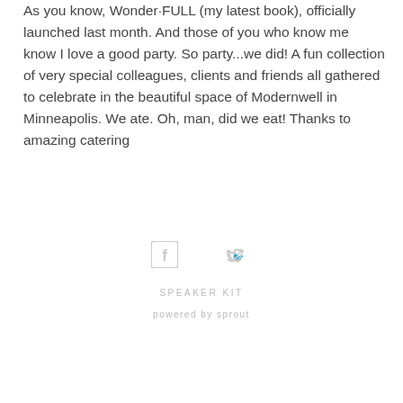As you know, Wonder·FULL (my latest book), officially launched last month. And those of you who know me know I love a good party. So party...we did! A fun collection of very special colleagues, clients and friends all gathered to celebrate in the beautiful space of Modernwell in Minneapolis. We ate. Oh, man, did we eat! Thanks to amazing catering
[Figure (other): Social media icons: Facebook icon and Twitter icon centered horizontally]
SPEAKER KIT
powered by sprout